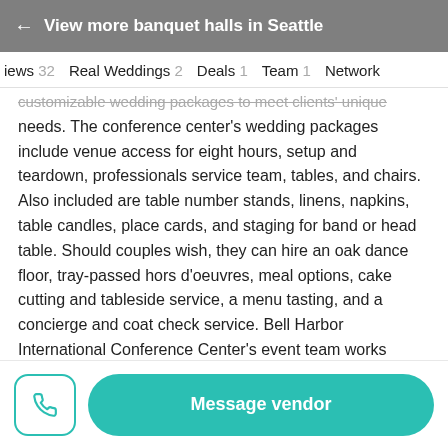← View more banquet halls in Seattle
iews 32   Real Weddings 2   Deals 1   Team 1   Network
customizable wedding packages to meet clients' unique needs. The conference center's wedding packages include venue access for eight hours, setup and teardown, professionals service team, tables, and chairs. Also included are table number stands, linens, napkins, table candles, place cards, and staging for band or head table. Should couples wish, they can hire an oak dance floor, tray-passed hors d'oeuvres, meal options, cake cutting and tableside service, a menu tasting, and a concierge and coat check service. Bell Harbor International Conference Center's event team works closely with clients to understand their needs and wedding
Message vendor